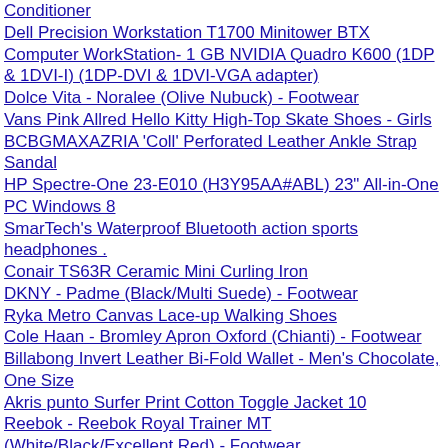Conditioner
Dell Precision Workstation T1700 Minitower BTX Computer WorkStation- 1 GB NVIDIA Quadro K600 (1DP & 1DVI-I) (1DP-DVI & 1DVI-VGA adapter)
Dolce Vita - Noralee (Olive Nubuck) - Footwear
Vans Pink Allred Hello Kitty High-Top Skate Shoes - Girls
BCBGMAXAZRIA 'Coll' Perforated Leather Ankle Strap Sandal
HP Spectre-One 23-E010 (H3Y95AA#ABL) 23" All-in-One PC Windows 8
SmarTech's Waterproof Bluetooth action sports headphones .
Conair TS63R Ceramic Mini Curling Iron
DKNY - Padme (Black/Multi Suede) - Footwear
Ryka Metro Canvas Lace-up Walking Shoes
Cole Haan - Bromley Apron Oxford (Chianti) - Footwear
Billabong Invert Leather Bi-Fold Wallet - Men's Chocolate, One Size
Akris punto Surfer Print Cotton Toggle Jacket 10
Reebok - Reebok Royal Trainer MT (White/Black/Excellent Red) - Footwear
Mavi Jeans - Serena Lowrise Super Skinny Jean in Sueded Teal (Sueded Teal) - Apparel
Classy Caps SL075T Majestic 5" x 5" PVC Solar Post Cap in Tan
Trouve Cargo Track Pants Womens Tan Size Small Small
LA Baby Fitted Compact Crib Sheet
Cole Haan - Village Hobo (Ivory) - Bags and Luggage
SteelCheck Slide Boxes and Tools